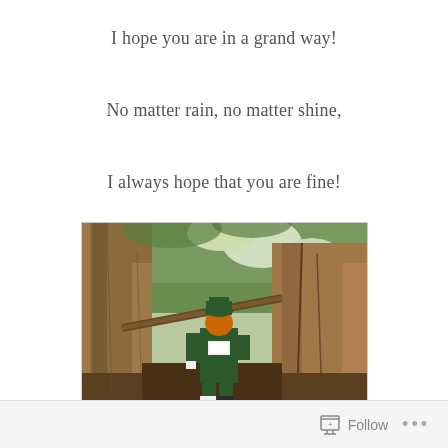I hope you are in a grand way!
No matter rain, no matter shine,
I always hope that you are fine!
[Figure (photo): A person wearing a green outfit and orange hat/mask standing among large tree trunks in a forest]
Follow ...